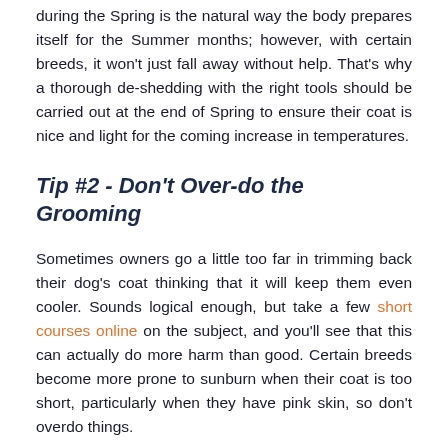during the Spring is the natural way the body prepares itself for the Summer months; however, with certain breeds, it won't just fall away without help. That's why a thorough de-shedding with the right tools should be carried out at the end of Spring to ensure their coat is nice and light for the coming increase in temperatures.
Tip #2 - Don't Over-do the Grooming
Sometimes owners go a little too far in trimming back their dog's coat thinking that it will keep them even cooler. Sounds logical enough, but take a few short courses online on the subject, and you'll see that this can actually do more harm than good. Certain breeds become more prone to sunburn when their coat is too short, particularly when they have pink skin, so don't overdo things.